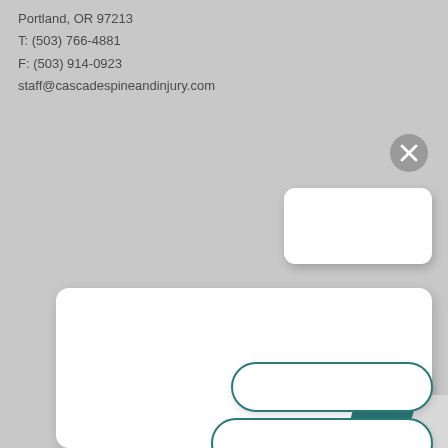Portland, OR 97213
T: (503) 766-4881
F: (503) 914-0923
staff@cascadespineandinjury.com
[Figure (screenshot): Gray circular close/dismiss button with X icon in the upper right area]
[Figure (screenshot): Small white rounded rectangle input/chat box]
[Figure (screenshot): Large white rounded rectangle input/message area]
[Figure (screenshot): White pill-shaped button with teal border]
[Figure (screenshot): White pill-shaped button with teal border]
[Figure (logo): Cascade Spine and Injury logo - teal droplet/leaf shape with red dot]